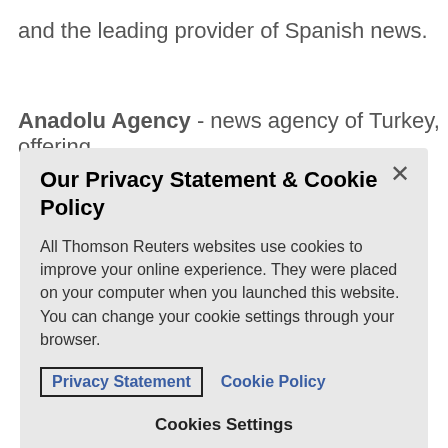and the leading provider of Spanish news.
Anadolu Agency - news agency of Turkey, offering
Our Privacy Statement & Cookie Policy
All Thomson Reuters websites use cookies to improve your online experience. They were placed on your computer when you launched this website. You can change your cookie settings through your browser.
Privacy Statement   Cookie Policy
Cookies Settings
Accept All Cookies